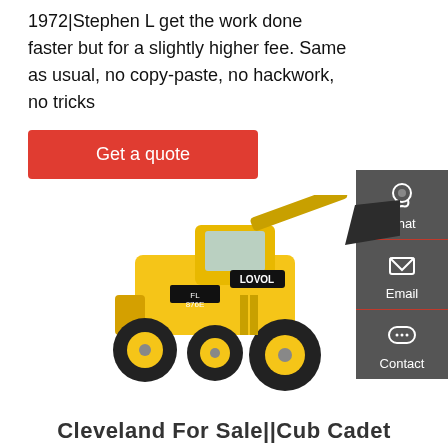1972|Stephen L get the work done faster but for a slightly higher fee. Same as usual, no copy-paste, no hackwork, no tricks
Get a quote
[Figure (photo): Yellow LOVOL wheel loader with bucket raised, model FL876E, on white background]
Cleveland For Sale||Cub Cadet